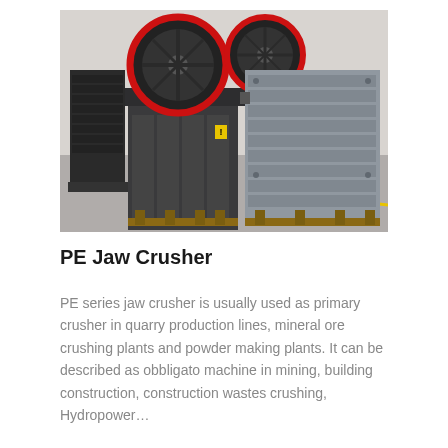[Figure (photo): Photograph of PE series jaw crusher machines (heavy gray industrial crushing equipment with red-rimmed flywheels) sitting on wooden pallets in a factory/warehouse setting.]
PE Jaw Crusher
PE series jaw crusher is usually used as primary crusher in quarry production lines, mineral ore crushing plants and powder making plants. It can be described as obbligato machine in mining, building construction, construction wastes crushing, Hydropower…